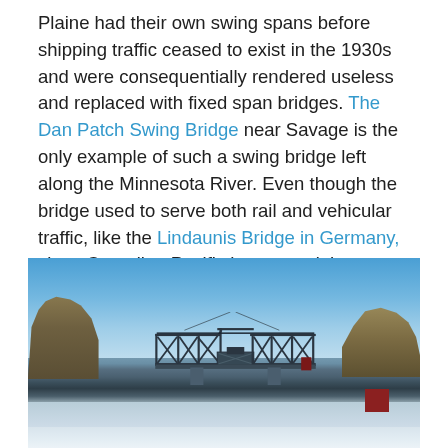Plaine had their own swing spans before shipping traffic ceased to exist in the 1930s and were consequentially rendered useless and replaced with fixed span bridges. The Dan Patch Swing Bridge near Savage is the only example of such a swing bridge left along the Minnesota River. Even though the bridge used to serve both rail and vehicular traffic, like the Lindaunis Bridge in Germany, since Canadian Pacific has owned the bridge, the structure is used exclusively for trains.
[Figure (photo): Photograph of the Dan Patch Swing Bridge near Savage, Minnesota in winter. The steel truss swing bridge is visible over a partially frozen river, with bare trees on both banks and a clear blue sky. Snow covers the ground. A red structure is visible on the right side of the bridge.]